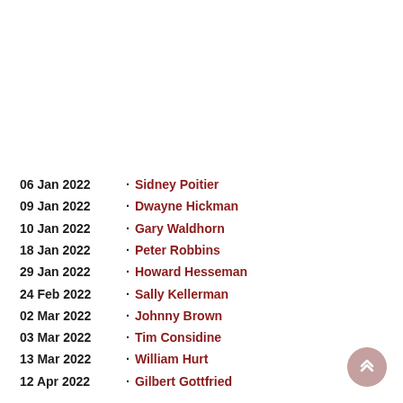06 Jan 2022 · Sidney Poitier
09 Jan 2022 · Dwayne Hickman
10 Jan 2022 · Gary Waldhorn
18 Jan 2022 · Peter Robbins
29 Jan 2022 · Howard Hesseman
24 Feb 2022 · Sally Kellerman
02 Mar 2022 · Johnny Brown
03 Mar 2022 · Tim Considine
13 Mar 2022 · William Hurt
12 Apr 2022 · Gilbert Gottfried
27 Jun 2022 · [partially visible]